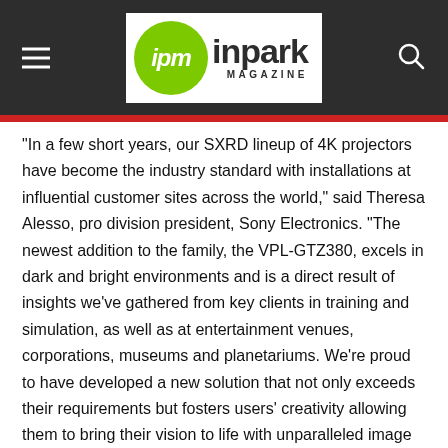ipm inpark MAGAZINE
"In a few short years, our SXRD lineup of 4K projectors have become the industry standard with installations at influential customer sites across the world," said Theresa Alesso, pro division president, Sony Electronics.  "The newest addition to the family, the VPL-GTZ380, excels in dark and bright environments and is a direct result of insights we've gathered from key clients in training and simulation, as well as at entertainment venues, corporations, museums and planetariums.  We're proud to have developed a new solution that not only exceeds their requirements but fosters users' creativity allowing them to bring their vision to life with unparalleled image expression."
Featuring a newly developed 0.74" Native 4K SXRD panel, the VPL-GTZ380 provides detailed and radiant imagery with a high 16,000:1 contrast ratio¹ that delivers deep blacks.  By adopting a new liquid crystal material for the panel, its light stability dramatically improves, enabling durability with 10,000 lumens